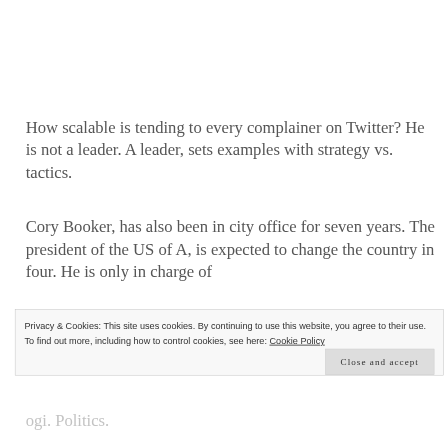How scalable is tending to every complainer on Twitter? He is not a leader. A leader, sets examples with strategy vs. tactics.
Cory Booker, has also been in city office for seven years. The president of the US of A, is expected to change the country in four. He is only in charge of
Privacy & Cookies: This site uses cookies. By continuing to use this website, you agree to their use.
To find out more, including how to control cookies, see here: Cookie Policy
Close and accept
ogi. Politics.